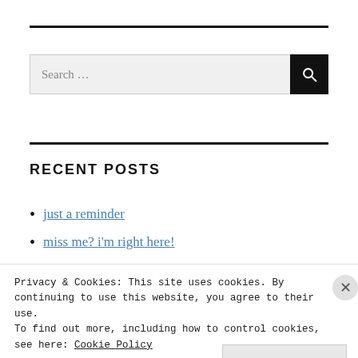[Figure (other): Horizontal black rule divider at top of page]
[Figure (screenshot): Search bar with text 'Search ...' and black search button with magnifying glass icon]
[Figure (other): Horizontal black rule divider in middle of page]
RECENT POSTS
just a reminder
miss me? i'm right here!
Privacy & Cookies: This site uses cookies. By continuing to use this website, you agree to their use.
To find out more, including how to control cookies, see here: Cookie Policy
Close and accept